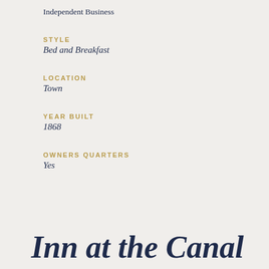Independent Business
STYLE
Bed and Breakfast
LOCATION
Town
YEAR BUILT
1868
OWNERS QUARTERS
Yes
Inn at the Canal